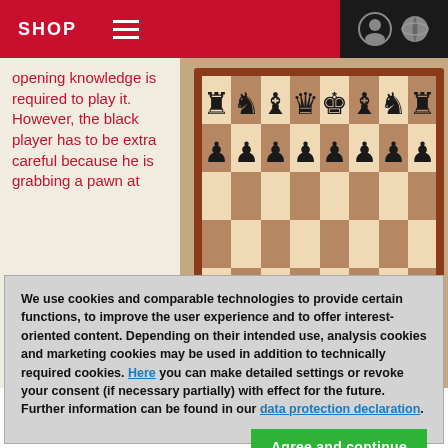SHOP
opening knowledge is required to play it. However, the black player has to be extra careful because he is grabbing a pawn at
[Figure (photo): Chess board showing opening position with black pieces on ranks 7 and 8, white squares and dark squares alternating, wooden board with mahogany border]
We use cookies and comparable technologies to provide certain functions, to improve the user experience and to offer interest-oriented content. Depending on their intended use, analysis cookies and marketing cookies may be used in addition to technically required cookies. Here you can make detailed settings or revoke your consent (if necessary partially) with effect for the future. Further information can be found in our data protection declaration.